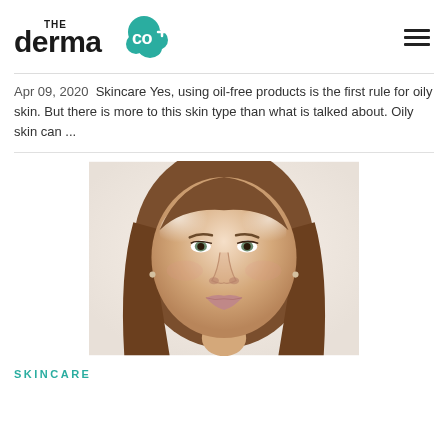The Derma Co
Apr 09, 2020  Skincare Yes, using oil-free products is the first rule for oily skin. But there is more to this skin type than what is talked about. Oily skin can ...
[Figure (photo): Close-up portrait of a woman with long brown hair, fair skin with a slight sheen suggesting oily skin, against a white background.]
SKINCARE